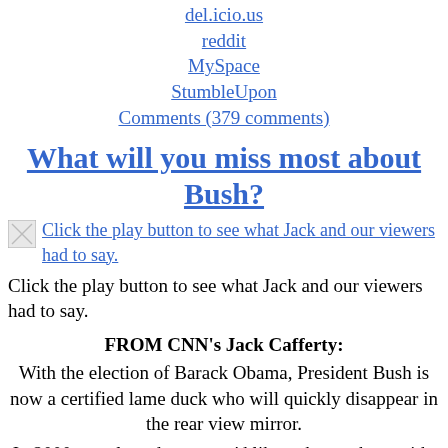del.icio.us
reddit
MySpace
StumbleUpon
Comments (379 comments)
What will you miss most about Bush?
[Figure (other): Small broken image icon placeholder]
Click the play button to see what Jack and our viewers had to say.
Click the play button to see what Jack and our viewers had to say.
FROM CNN's Jack Cafferty:
With the election of Barack Obama, President Bush is now a certified lame duck who will quickly disappear in the rear view mirror.
In 2000, we elected a guy we'd like to have a beer with. Huge mistake.
Bush soared when the Twin Towers came down. On September 14,